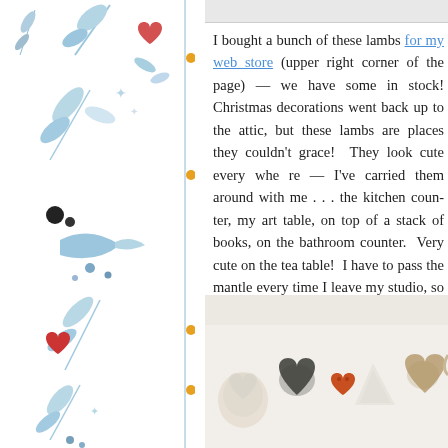[Figure (illustration): Decorative botanical/floral border on white background with blue watercolor leaves, branches, red hearts/berries, black dots, and orange dots arranged vertically along the left side of the page with a blue vertical rule line.]
I bought a bunch of these lambs for my web store (upper right corner of the page) — we have some in stock! Christmas decorations went back up to the attic, but these lambs are places they couldn't grace! They look cute every where — I've carried them around with me . . . the kitchen counter, my art table, on top of a stack of books, on the bathroom counter. Very cute on the tea table! I have to pass the mantle every time I leave my studio, so there they sit, making me happy every day. They're actually coin banks, they have a slot in the top, but to me, they're a reminder of all that English countryside beauty. They look like vintage, but the price for the vintage ones . . . You can also start saving for your trip to
[Figure (photo): Photo of heart-shaped stones/rocks in various earthy tones — white, dark grey, orange/red, white triangular, tan/brown, and beige — arranged in a row on a light surface.]